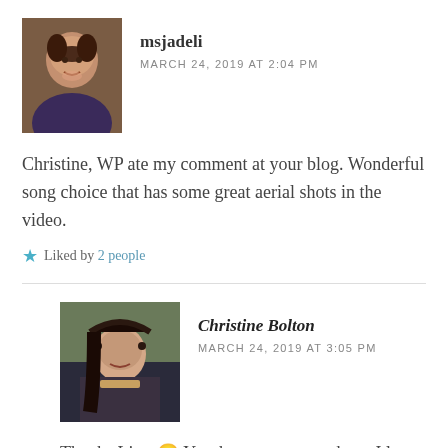msjadeli
MARCH 24, 2019 AT 2:04 PM
Christine, WP ate my comment at your blog. Wonderful song choice that has some great aerial shots in the video.
Liked by 2 people
Christine Bolton
MARCH 24, 2019 AT 3:05 PM
Thanks Lisa. 🙂 Yes they were great shots. I love the words to this song.